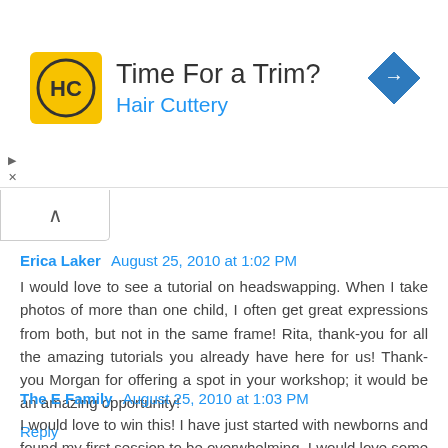[Figure (screenshot): Hair Cuttery advertisement banner with yellow logo, 'Time For a Trim?' headline, 'Hair Cuttery' subtitle in blue, and blue diamond navigation icon on the right.]
Erica Laker August 25, 2010 at 1:02 PM
I would love to see a tutorial on headswapping. When I take photos of more than one child, I often get great expressions from both, but not in the same frame! Rita, thank-you for all the amazing tutorials you already have here for us! Thank-you Morgan for offering a spot in your workshop; it would be an amazing opportunity!
Reply
The E Family August 25, 2010 at 1:03 PM
I would love to win this! I have just started with newborns and found my first session to be overwhelming. I would love some lighting tips!